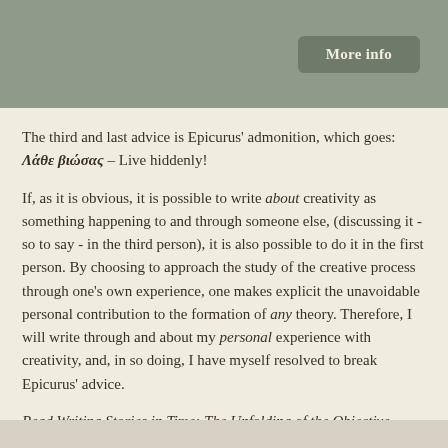[Figure (other): Grey-green header bar with a 'More info' button on the right]
The third and last advice is Epicurus' admonition, which goes: Λάθε βιώσας – Live hiddenly!
If, as it is obvious, it is possible to write about creativity as something happening to and through someone else, (discussing it - so to say - in the third person), it is also possible to do it in the first person. By choosing to approach the study of the creative process through one's own experience, one makes explicit the unavoidable personal contribution to the formation of any theory. Therefore, I will write through and about my personal experience with creativity, and, in so doing, I have myself resolved to break Epicurus' advice.
Read Writing Stories in Time: The Unfolding of the Objective Biography in Life and Work in its entirety here.
Log in or register to post comments